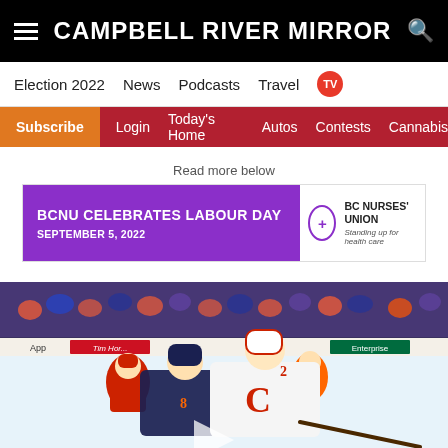CAMPBELL RIVER MIRROR
Election 2022
News
Podcasts
Travel
TV
Subscribe
Login
Today's Home
Autos
Contests
Cannabis
Read more below
[Figure (infographic): Advertisement banner for BCNU - BCNU CELEBRATES LABOUR DAY, SEPTEMBER 5, 2022, BC Nurses Union - Standing up for health care]
[Figure (photo): Hockey players on ice - Calgary Flames player in white jersey with C logo competing against Edmonton Oilers player in dark jersey, with Tim Hortons and Enterprise rink boards visible in the background]